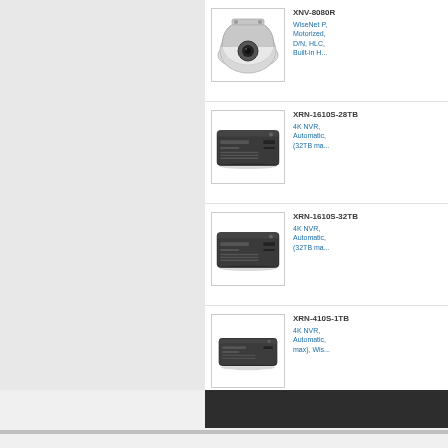[Figure (photo): XNV-8080R dome camera product image]
XNV-8080R
WiseNet P, Motorized, D/N, HLC, Built-in H...
[Figure (photo): XRN-1610S-28TB NVR product image]
XRN-1610S-28TB
4K NVR, Automatic, (32TB ma...
[Figure (photo): XRN-1610S-32TB NVR product image]
XRN-1610S-32TB
4K NVR, Automatic, (32TB ma...
[Figure (photo): XRN-410S-1TB NVR product image]
XRN-410S-1TB
4K NVR, Automatic, max), Wis...